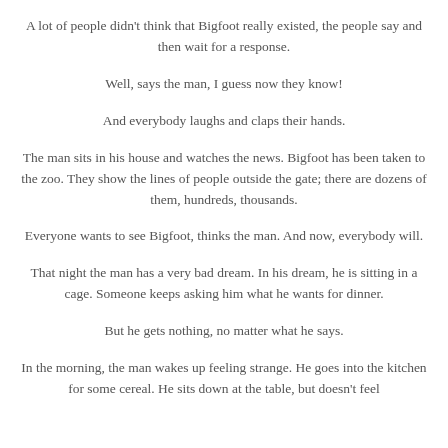A lot of people didn't think that Bigfoot really existed, the people say and then wait for a response.
Well, says the man, I guess now they know!
And everybody laughs and claps their hands.
The man sits in his house and watches the news. Bigfoot has been taken to the zoo. They show the lines of people outside the gate; there are dozens of them, hundreds, thousands.
Everyone wants to see Bigfoot, thinks the man. And now, everybody will.
That night the man has a very bad dream. In his dream, he is sitting in a cage. Someone keeps asking him what he wants for dinner.
But he gets nothing, no matter what he says.
In the morning, the man wakes up feeling strange. He goes into the kitchen for some cereal. He sits down at the table, but doesn't feel